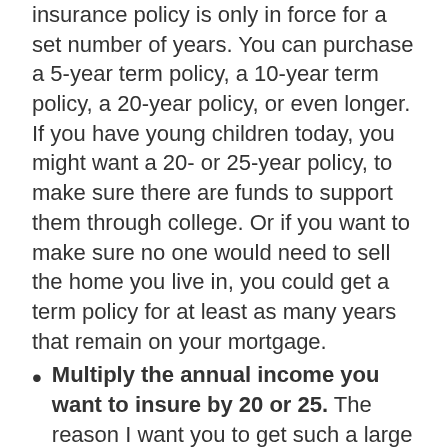insurance policy is only in force for a set number of years. You can purchase a 5-year term policy, a 10-year term policy, a 20-year policy, or even longer. If you have young children today, you might want a 20- or 25-year policy, to make sure there are funds to support them through college. Or if you want to make sure no one would need to sell the home you live in, you could get a term policy for at least as many years that remain on your mortgage.
Multiply the annual income you want to insure by 20 or 25. The reason I want you to get such a large policy is so that if anything happens and your loved ones receive the death benefit, they can invest it